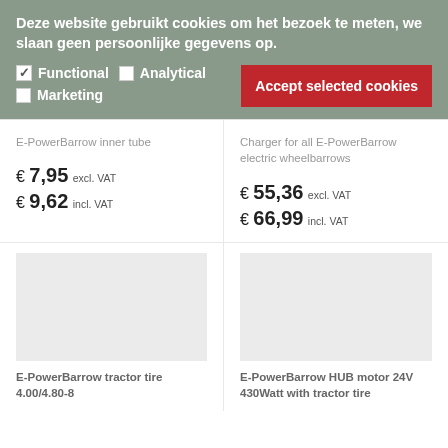Deze website gebruikt cookies om het bezoek te meten, we slaan geen persoonlijke gegevens op.
Functional  Analytical  Marketing  Accept selected cookies
E-PowerBarrow inner tube
€ 7,95 excl. VAT
€ 9,62 incl. VAT
Charger for all E-PowerBarrow electric wheelbarrows
€ 55,36 excl. VAT
€ 66,99 incl. VAT
E-PowerBarrow tractor tire 4.00/4.80-8
E-PowerBarrow HUB motor 24V 430Watt with tractor tire